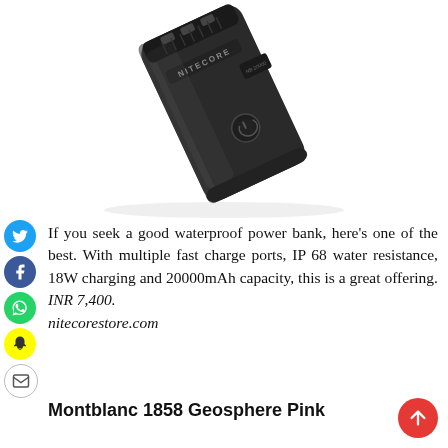[Figure (photo): A black Nitecore power bank device photographed at an angle, showing USB ports on top and the Nitecore brand name on the side, with a power button/indicator on front.]
If you seek a good waterproof power bank, here's one of the best. With multiple fast charge ports, IP 68 water resistance, 18W charging and 20000mAh capacity, this is a great offering. INR 7,400. nitecorestore.com
Montblanc 1858 Geosphere Pink